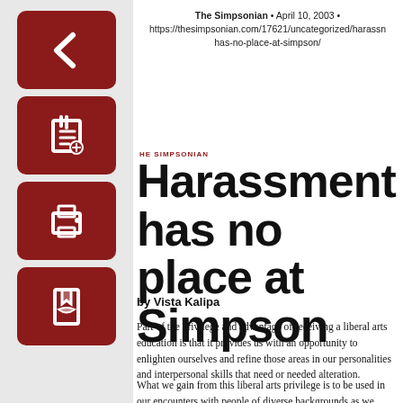The Simpsonian • April 10, 2003 • https://thesimpsonian.com/17621/uncategorized/harassn has-no-place-at-simpson/
Harassment has no place at Simpson
by Vista Kalipa
Part of the privilege and advantage of receiving a liberal arts education is that it provides us with an opportunity to enlighten ourselves and refine those areas in our personalities and interpersonal skills that need or needed alteration.
What we gain from this liberal arts privilege is to be used in our encounters with people of diverse backgrounds as we meet them along the way.